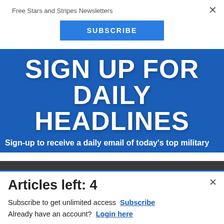Free Stars and Stripes Newsletters
SUBSCRIBE
SIGN UP FOR DAILY HEADLINES
Sign-up to receive a daily email of today's top military
[Figure (screenshot): Commissary Click2Go advertisement banner showing logo with green circle, Commissary badge, and partial text 'order groceries']
Articles left: 4
Subscribe to get unlimited access Subscribe
Already have an account? Login here